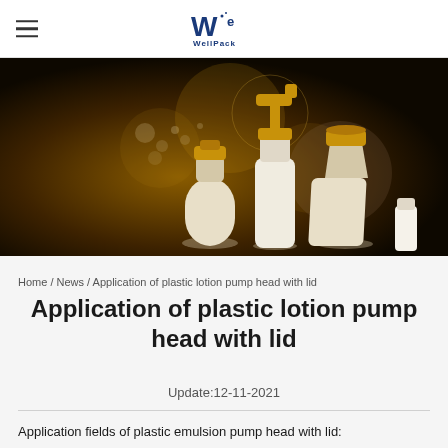WellPack logo and hamburger menu
[Figure (photo): Hero image showing cosmetic bottles and pump dispensers with gold caps on a dark golden-brown background with bokeh circles]
Home / News / Application of plastic lotion pump head with lid
Application of plastic lotion pump head with lid
Update:12-11-2021
Application fields of plastic emulsion pump head with lid: